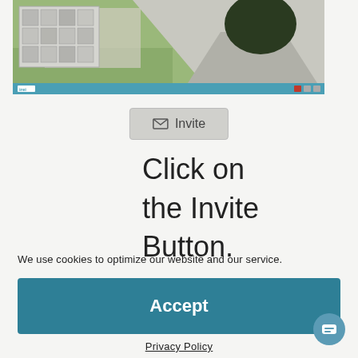[Figure (screenshot): Screenshot of a real estate virtual tour application showing a house exterior with lawn and driveway, with a floor plan thumbnail overlay in the top-left corner and a blue toolbar at the bottom.]
[Figure (screenshot): Invite button with envelope icon and label 'Invite' on a light gray background.]
Click on the Invite Button.
We use cookies to optimize our website and our service.
[Figure (other): Accept button - large teal/blue button with bold white text 'Accept']
Privacy Policy